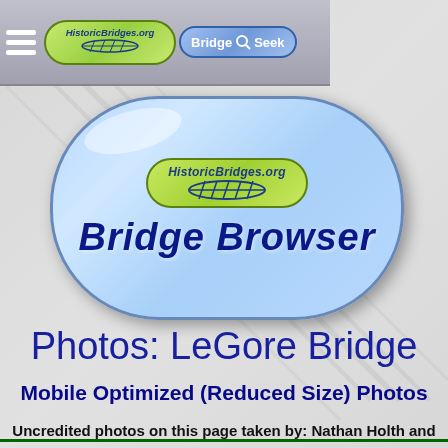[Figure (logo): HistoricBridges.org navigation bar with hamburger menu, HistoricBridges.org oval logo, and BridgeSeek pill logo on grey background]
[Figure (logo): HistoricBridges.org Bridge Browser main logo — large blue pill/capsule shape with green oval HistoricBridges.org logo and 'Bridge Browser' text in dark blue italic bold]
Photos: LeGore Bridge
Mobile Optimized (Reduced Size) Photos
Uncredited photos on this page taken by: Nathan Holth and Rick McOmber. Unless stated in a caption, all photos are Copyright with All Rights Reserved. Learn about reuse of our photos.